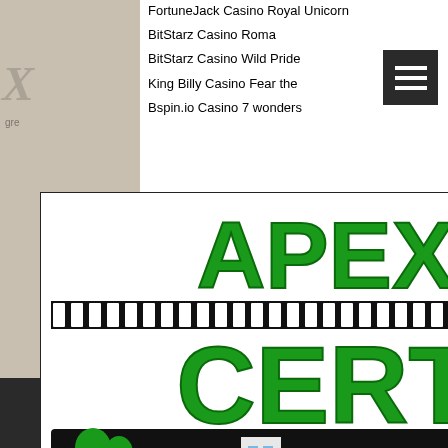FortuneJack Casino Royal Unicorn
BitStarz Casino Roma
BitStarz Casino Wild Pride
King Billy Casino Fear the
Bspin.io Casino 7 wonders
[Figure (logo): Apex CERT Community Emergency Response Team logo — green bold text APEX above CERT in large letters, with a black banner showing a community scene illustration and text COMMUNITY EMERGENCY RESPONSE TEAM below]
https://www.iglesiavangelicavisiondereino.com/profile/cratinrafusu/profile
https://www.dukaanpakistan.com/profile/paratdawns/profile
https://www.tuiscintunderstandingyou.com/profile/ardssofia0/profile
© 2016-2022 by Apex CERT